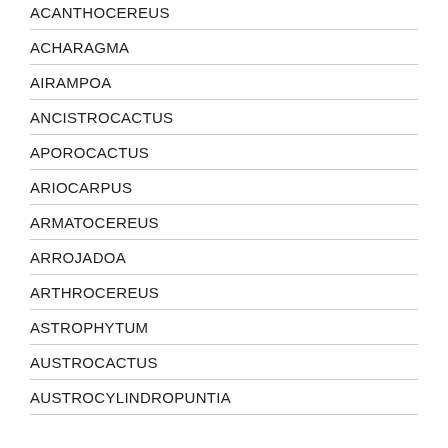ACANTHOCEREUS
ACHARAGMA
AIRAMPOA
ANCISTROCACTUS
APOROCACTUS
ARIOCARPUS
ARMATOCEREUS
ARROJADOA
ARTHROCEREUS
ASTROPHYTUM
AUSTROCACTUS
AUSTROCYLINDROPUNTIA